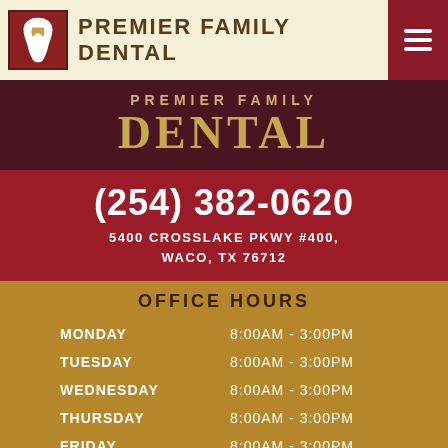PREMIER FAMILY DENTAL
PREMIER FAMILY
DENTAL
(254) 382-0620
5400 CROSSLAKE PKWY #400,
WACO, TX 76712
OFFICE HOURS
| DAY | HOURS |
| --- | --- |
| MONDAY | 8:00AM - 3:00PM |
| TUESDAY | 8:00AM - 3:00PM |
| WEDNESDAY | 8:00AM - 3:00PM |
| THURSDAY | 8:00AM - 3:00PM |
| FRIDAY | 8:00AM - 3:00PM |
REQUEST   CALL   MAP